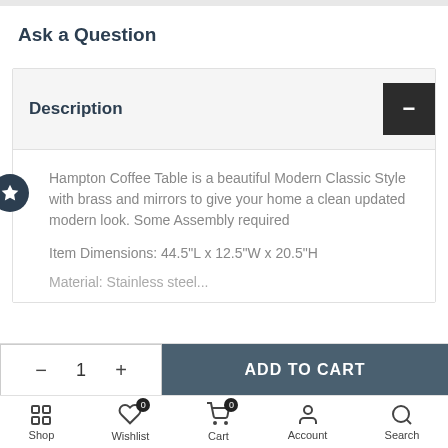Ask a Question
Description
Hampton Coffee Table is a beautiful Modern Classic Style with brass and mirrors to give your home a clean updated modern look. Some Assembly required
Item Dimensions: 44.5"L x 12.5"W x 20.5"H
Material: Stainless steel...
- 1 + ADD TO CART
Shop  Wishlist  Cart  Account  Search